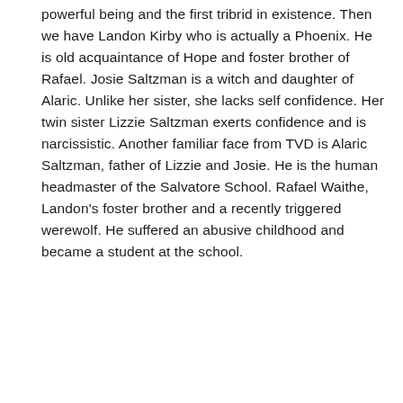powerful being and the first tribrid in existence. Then we have Landon Kirby who is actually a Phoenix. He is old acquaintance of Hope and foster brother of Rafael. Josie Saltzman is a witch and daughter of Alaric. Unlike her sister, she lacks self confidence. Her twin sister Lizzie Saltzman exerts confidence and is narcissistic. Another familiar face from TVD is Alaric Saltzman, father of Lizzie and Josie. He is the human headmaster of the Salvatore School. Rafael Waithe, Landon's foster brother and a recently triggered werewolf. He suffered an abusive childhood and became a student at the school.